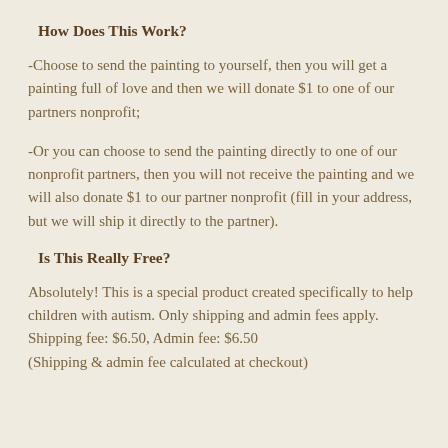How Does This Work?
-Choose to send the painting to yourself, then you will get a painting full of love and then we will donate $1 to one of our partners nonprofit;
-Or you can choose to send the painting directly to one of our nonprofit partners, then you will not receive the painting and we will also donate $1 to our partner nonprofit (fill in your address, but we will ship it directly to the partner).
Is This Really Free?
Absolutely! This is a special product created specifically to help children with autism. Only shipping and admin fees apply. Shipping fee: $6.50, Admin fee: $6.50
(Shipping & admin fee calculated at checkout)